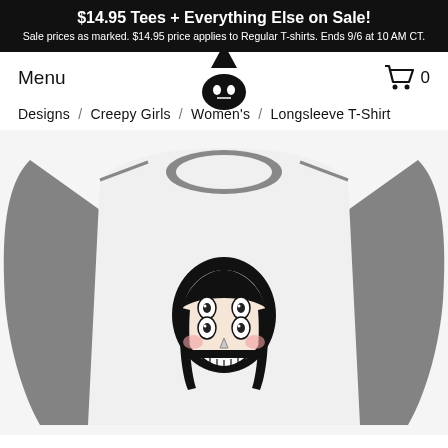$14.95 Tees + Everything Else on Sale! Sale prices as marked. $14.95 price applies to Regular T-shirts. Ends 9/6 at 10 AM CT.
Menu
[Figure (logo): Black cartoon character logo - small figure with pointed hat/head and simple face]
[Figure (illustration): Shopping cart icon with 0 count]
Designs  /  Creepy Girls  /  Women's  /  Longsleeve T-Shirt
[Figure (photo): Women's raglan longsleeve t-shirt with gray sleeves and white body, featuring a creepy girl face illustration with multiple eyes and a grinning mouth on the front]